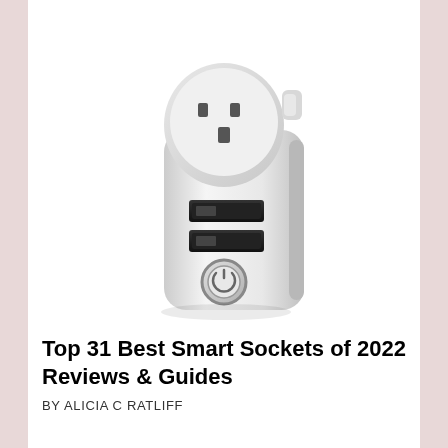[Figure (photo): A white smart socket/plug adapter with two USB ports and a circular power button, shown at a slight angle. The plug has a UK-style outlet socket on top and two rectangular USB-A ports on the front, plus a round power button at the bottom.]
Top 31 Best Smart Sockets of 2022 Reviews & Guides
BY ALICIA C RATLIFF